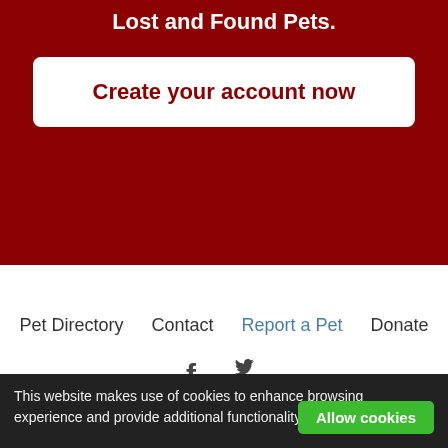Lost and Found Pets.
Create your account now
Pet Directory   Contact   Report a Pet   Donate
[Figure (illustration): Social media icons: Facebook (f) and Twitter (bird icon)]
This website makes use of cookies to enhance browsing experience and provide additional functionality. Details
Allow cookies